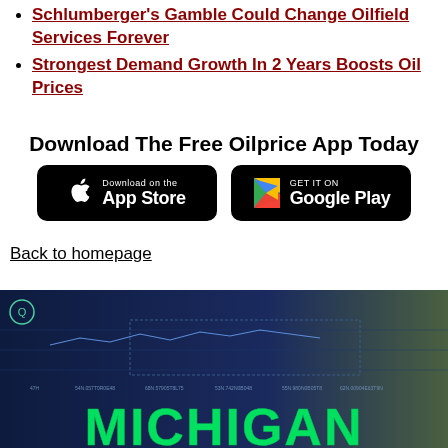Schlumberger's Gamble Could Change Oilfield Services Forever
Strongest Demand Growth In 2 Years Boosts Oil Prices
Download The Free Oilprice App Today
[Figure (other): App Store download button (black rounded rectangle with Apple logo and 'Download on the App Store' text)]
[Figure (other): Google Play download button (black rounded rectangle with Google Play triangle logo and 'GET IT ON Google Play' text)]
Back to homepage
[Figure (screenshot): Screenshot showing a dark blue dashboard/map interface with 'MICHIGAN' text in large green letters at the bottom]